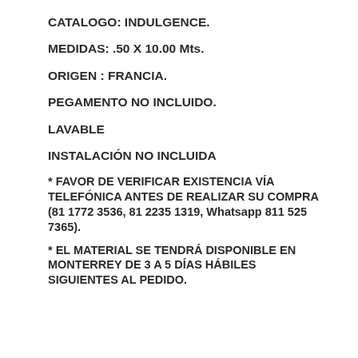CATALOGO: INDULGENCE.
MEDIDAS: .50 X 10.00 Mts.
ORIGEN : FRANCIA.
PEGAMENTO NO INCLUIDO.
LAVABLE
INSTALACIÓN NO INCLUIDA
* FAVOR DE VERIFICAR EXISTENCIA VÍA TELEFÓNICA ANTES DE REALIZAR SU COMPRA (81 1772 3536, 81 2235 1319, Whatsapp 811 525 7365).
* EL MATERIAL SE TENDRÁ DISPONIBLE EN MONTERREY DE 3 A 5 DÍAS HÁBILES SIGUIENTES AL PEDIDO.